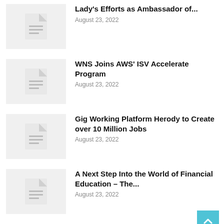Lady's Efforts as Ambassador of...
August 23, 2022
WNS Joins AWS' ISV Accelerate Program
August 23, 2022
Gig Working Platform Herody to Create over 10 Million Jobs
August 23, 2022
A Next Step Into the World of Financial Education – The...
August 23, 2022
HCL Technologies Certified Once Again as a Great Place to Work@...